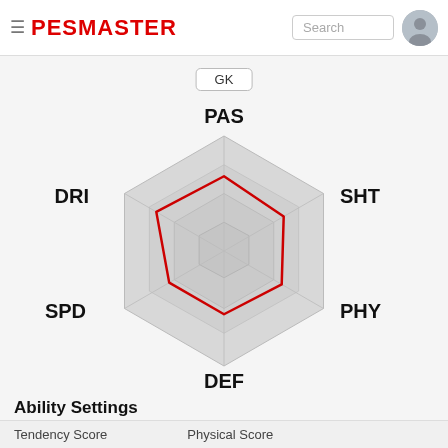PESMASTER
GK
[Figure (radar-chart): Radar/spider chart with 6 axes: PAS (top), SHT (upper right), PHY (lower right), DEF (bottom), SPD (lower left), DRI (upper left). A red outline polygon shows player stats. The background hexagon grid is light gray.]
Ability Settings
Tendency Score   Physical Score